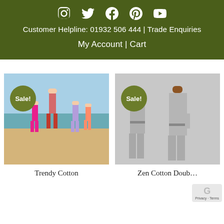Social icons: Instagram, Twitter, Facebook, Pinterest, YouTube
Customer Helpline: 01932 506 444 | Trade Enquiries
My Account | Cart
[Figure (photo): Family of four walking on a beach, viewed from behind. Two adults and two children wearing colorful beach attire. 'Sale!' badge overlay in olive green circle.]
Trendy Cotton
[Figure (photo): Man and woman wearing matching grey cotton robes/dressing gowns. 'Sale!' badge overlay in olive green circle.]
Zen Cotton Double